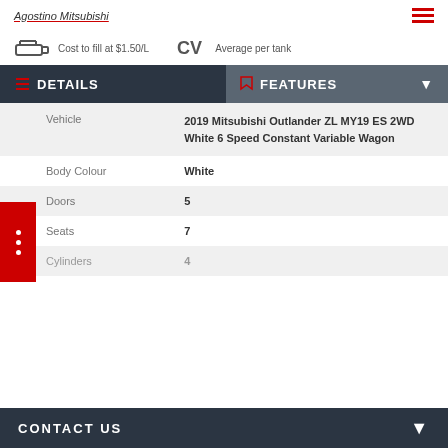Agostino Mitsubishi
Cost to fill at $1.50/L
Average per tank
DETAILS
FEATURES
| Field | Value |
| --- | --- |
| Vehicle | 2019 Mitsubishi Outlander ZL MY19 ES 2WD White 6 Speed Constant Variable Wagon |
| Body Colour | White |
| Doors | 5 |
| Seats | 7 |
| Cylinders | 4 |
CONTACT US